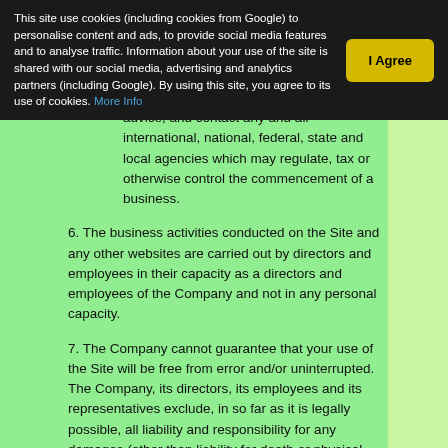This site use cookies (including cookies from Google) to personalise content and ads, to provide social media features and to analyse traffic. Information about your use of the site is shared with our social media, advertising and analytics partners (including Google). By using this site, you agree to its use of cookies. More Info
advice, and contact any and all international, national, federal, state and local agencies which may regulate, tax or otherwise control the commencement of a business.
6. The business activities conducted on the Site and any other websites are carried out by directors and employees in their capacity as a directors and employees of the Company and not in any personal capacity.
7. The Company cannot guarantee that your use of the Site will be free from error and/or uninterrupted. The Company, its directors, its employees and its representatives exclude, in so far as it is legally possible, all liability and responsibility for any damages (other than liability for death or physical injury